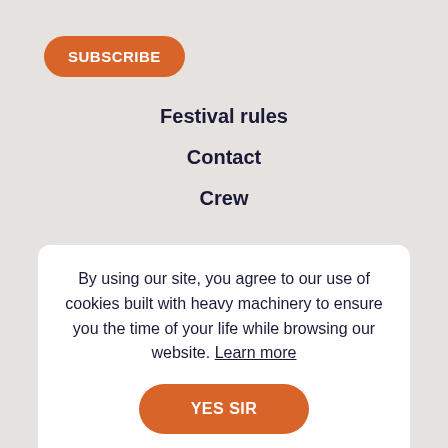SUBSCRIBE
Festival rules
Contact
Crew
By using our site, you agree to our use of cookies built with heavy machinery to ensure you the time of your life while browsing our website. Learn more
YES SIR